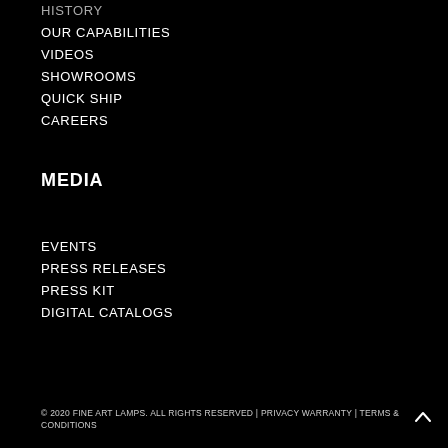HISTORY
OUR CAPABILITIES
VIDEOS
SHOWROOMS
QUICK SHIP
CAREERS
MEDIA
EVENTS
PRESS RELEASES
PRESS KIT
DIGITAL CATALOGS
© 2020 FINE ART LAMPS. ALL RIGHTS RESERVED | PRIVACY WARRANTY | TERMS & CONDITIONS